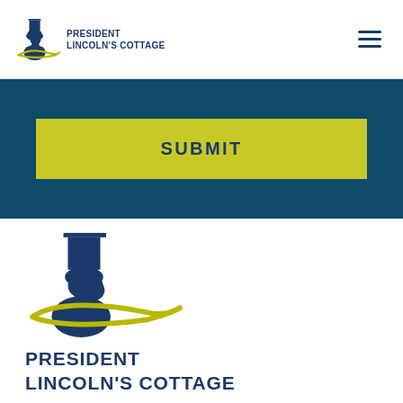[Figure (logo): President Lincoln's Cottage logo with Lincoln silhouette and swoosh, header version (small)]
[Figure (other): Hamburger menu icon (three horizontal lines)]
SUBMIT
[Figure (logo): President Lincoln's Cottage logo with Lincoln silhouette and swoosh, footer version (large)]